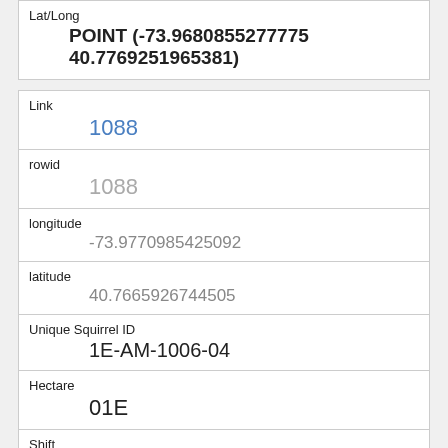| Field | Value |
| --- | --- |
| Lat/Long | POINT (-73.9680855277775 40.7769251965381) |
| Link | 1088 |
| rowid | 1088 |
| longitude | -73.9770985425092 |
| latitude | 40.7665926744505 |
| Unique Squirrel ID | 1E-AM-1006-04 |
| Hectare | 01E |
| Shift | AM |
| Date | 10062018 |
| Hectare Squirrel Number |  |